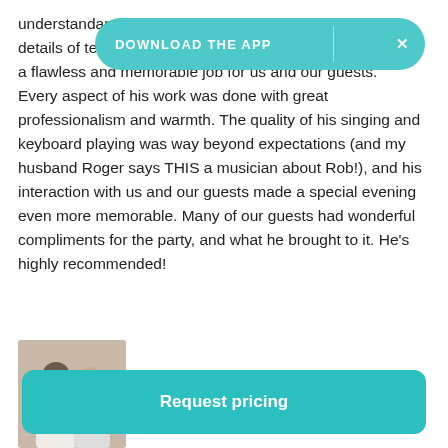understand... andled the details of t... esire to do a flawless and memorable job for us and our guests. Every aspect of his work was done with great professionalism and warmth. The quality of his singing and keyboard playing was way beyond expectations (and my husband Roger says THIS a musician about Rob!), and his interaction with us and our guests made a special evening even more memorable. Many of our guests had wonderful compliments for the party, and what he brought to it. He's highly recommended!
[Figure (photo): A photo showing two people, a man and a woman, smiling together]
Request pricing